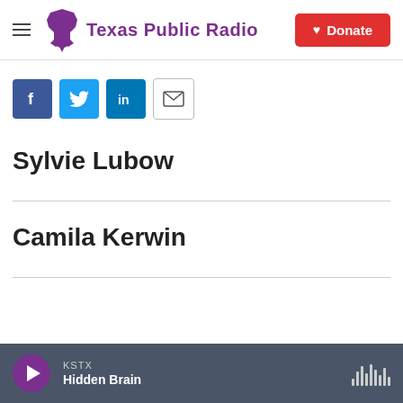Texas Public Radio — Donate
[Figure (infographic): Social sharing icons: Facebook, Twitter, LinkedIn, Email]
Sylvie Lubow
Camila Kerwin
KSTX — Hidden Brain